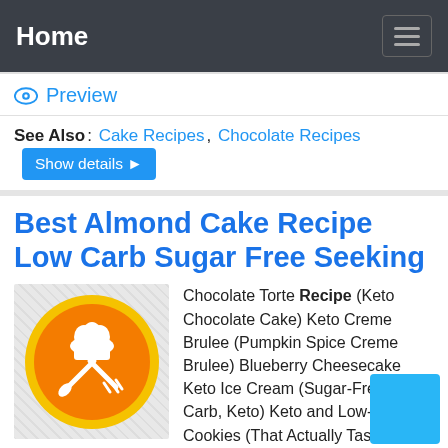Home
Preview
See Also: Cake Recipes, Chocolate Recipes  Show details ▶
Best Almond Cake Recipe Low Carb Sugar Free Seeking
[Figure (logo): Orange circular cooking/recipe icon with chef hat, spoon and fork crossed]
Chocolate Torte Recipe (Keto Chocolate Cake) Keto Creme Brulee (Pumpkin Spice Creme Brulee) Blueberry Cheesecake Keto Ice Cream (Sugar-Free, Low Carb, Keto) Keto and Low-Carb Cookies (That Actually Taste Good) Delicious Low Carb and Keto Cupcakes (The Best Keto Cupcake Recipes)